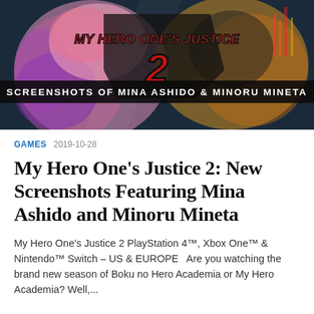[Figure (screenshot): Promotional banner for My Hero One's Justice 2 video game showing anime characters Mina Ashido and Minoru Mineta with the game logo and text 'SCREENSHOTS OF MINA ASHIDO & MINORU MINETA' at the bottom]
GAMES  2019-10-28
My Hero One’s Justice 2: New Screenshots Featuring Mina Ashido and Minoru Mineta
My Hero One’s Justice 2 PlayStation 4™, Xbox One™ & Nintendo™ Switch – US & EUROPE  Are you watching the brand new season of Boku no Hero Academia or My Hero Academia? Well,...